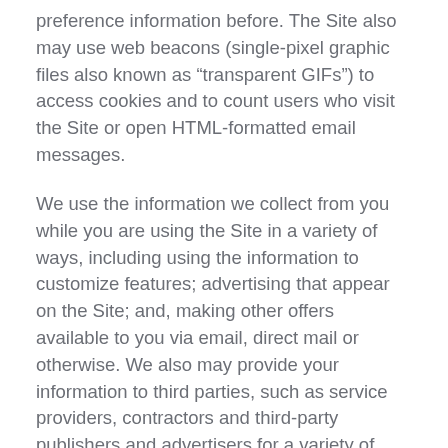preference information before. The Site also may use web beacons (single-pixel graphic files also known as “transparent GIFs”) to access cookies and to count users who visit the Site or open HTML-formatted email messages.
We use the information we collect from you while you are using the Site in a variety of ways, including using the information to customize features; advertising that appear on the Site; and, making other offers available to you via email, direct mail or otherwise. We also may provide your information to third parties, such as service providers, contractors and third-party publishers and advertisers for a variety of purposes. Unless you inform us in accordance with the process described below, we reserve the right to use, and to disclose to third parties, all of the information collected from and about you while